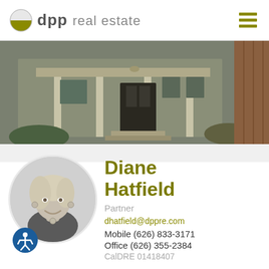[Figure (logo): dpp real estate logo with circle icon (half olive/half white) and text 'dpp real estate']
[Figure (photo): Exterior photo of a house with a covered porch, wooden details, and greenery]
[Figure (photo): Black and white circular portrait photo of Diane Hatfield, a woman with light hair, smiling]
Diane Hatfield
Partner
dhatfield@dppre.com
Mobile (626) 833-3171
Office (626) 355-2384
CalDRE 01418407